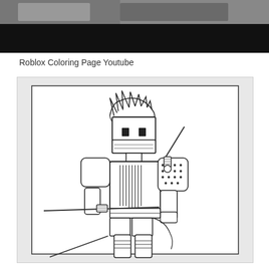[Figure (photo): Top portion of a screenshot showing a partially visible image with dark background, appears to be a YouTube video thumbnail]
Roblox Coloring Page Youtube
[Figure (illustration): A Roblox ninja character coloring page. The character has spiky hair, a face mask, blocky Roblox-style body with samurai/ninja armor including chest plate with vertical line textures, dotted shoulder pad, arm guards, leg wraps, and is holding two swords - one over the shoulder and one extended forward. The drawing is a black and white line art on light gray background with a thin rectangular border.]